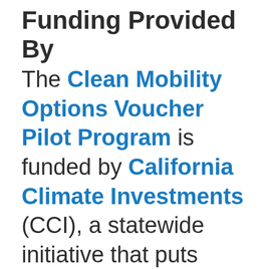Funding Provided By
The Clean Mobility Options Voucher Pilot Program is funded by California Climate Investments (CCI), a statewide initiative that puts billions of Cap-and-Trade dollars to work reducing greenhouse gas emissions, strengthening the economy, and improving public health and the environment —